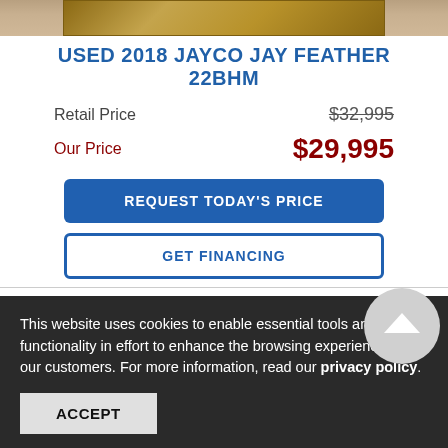[Figure (photo): Top partial image of a travel trailer / RV (warm golden brown tones), cropped at top of page]
USED 2018 JAYCO JAY FEATHER 22BHM
Retail Price   $32,995 (strikethrough)
Our Price   $29,995
REQUEST TODAY'S PRICE
GET FINANCING
[Figure (photo): Partial second image of the RV, cropped, with a scroll-to-top button overlay (gray circle with white chevron)]
This website uses cookies to enable essential tools and functionality in effort to enhance the browsing experience for our customers. For more information, read our privacy policy.
ACCEPT